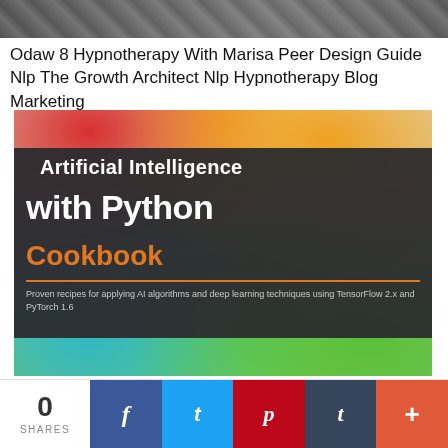[Figure (photo): Top portion of a book or similar item, partially visible, dark tones]
Odaw 8 Hypnotherapy With Marisa Peer Design Guide Nlp The Growth Architect Nlp Hypnotherapy Blog Marketing
[Figure (photo): Book cover: Artificial Intelligence with Python Cookbook. Dark background panel with text: 'Artificial Intelligence with Python Cookbook. Proven recipes for applying AI algorithms and deep learning techniques using TensorFlow 2.x and PyTorch 1.6'. Colorful ink art background in lower portion.]
0 SHARES
[Figure (infographic): Social sharing bar with Facebook, Twitter, Pinterest, Tumblr, and plus buttons]